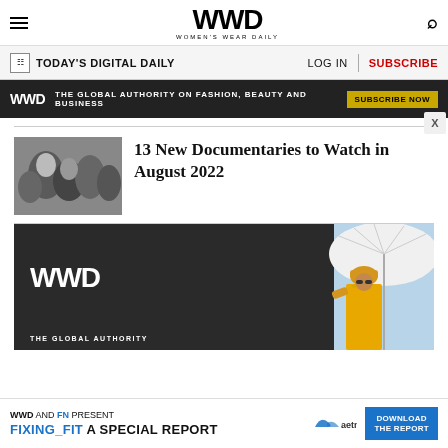WWD WOMEN'S WEAR DAILY
TODAY'S DIGITAL DAILY    LOG IN  |  SUBSCRIBE
WWD  THE GLOBAL AUTHORITY ON FASHION, BEAUTY AND BUSINESS  SUBSCRIBE NOW
13 New Documentaries to Watch in August 2022
[Figure (photo): Black and white photo of people, possibly Princess Diana]
[Figure (infographic): WWD dark advertisement banner with woman in yellow hat holding white umbrella, THE GLOBAL AUTHORITY text at bottom]
WWD AND FN PRESENT  FIXING_FIT A SPECIAL REPORT  DOWNLOAD THE REPORT